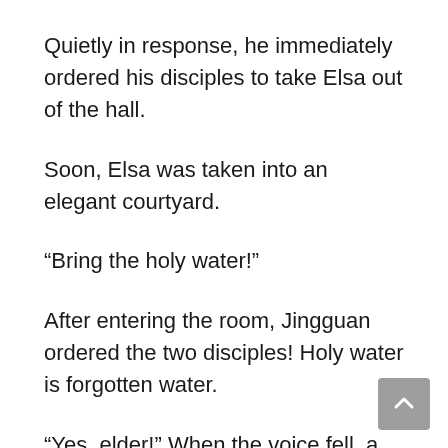Quietly in response, he immediately ordered his disciples to take Elsa out of the hall.
Soon, Elsa was taken into an elegant courtyard.
“Bring the holy water!”
After entering the room, Jingguan ordered the two disciples! Holy water is forgotten water.
“Yes, elder!” When the voice fell, a disciple responded quickly and walked out quickly.
After a while, a disciple came back with a glass of Wangyoushui in his hand.